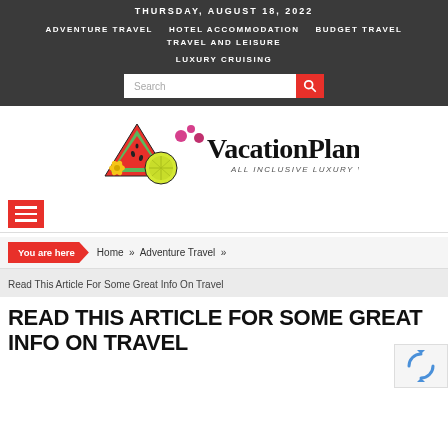THURSDAY, AUGUST 18, 2022
ADVENTURE TRAVEL   HOTEL ACCOMMODATION   BUDGET TRAVEL   TRAVEL AND LEISURE   LUXURY CRUISING
[Figure (logo): VacationPlan logo with fruit illustration and tagline: ALL INCLUSIVE LUXURY VACATIONS PLANNER]
You are here  Home » Adventure Travel »  Read This Article For Some Great Info On Travel
READ THIS ARTICLE FOR SOME GREAT INFO ON TRAVEL